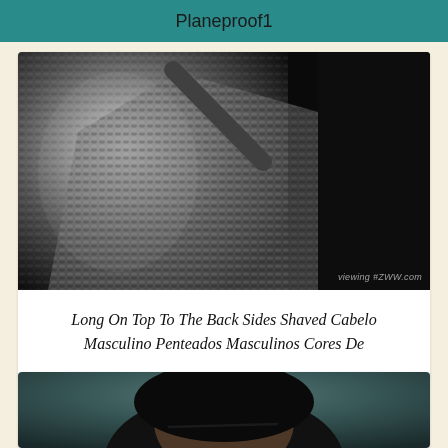Planeproof1
[Figure (photo): Black and white close-up photo of a person wearing a textured knit or woven jacket/blazer, showing the fabric pattern and lapel detail.]
Long On Top To The Back Sides Shaved Cabelo Masculino Penteados Masculinos Cores De
[Figure (photo): Partial view of a person's head showing dark hair, top portion of the card cropped.]